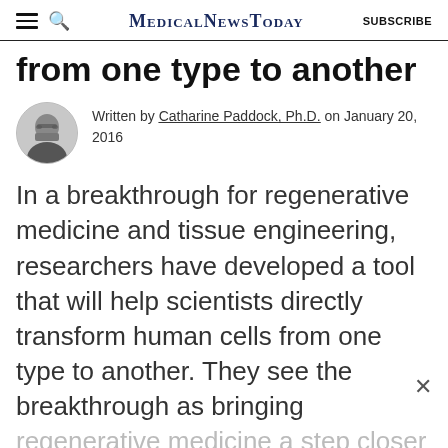MedicalNewsToday  SUBSCRIBE
from one type to another
Written by Catharine Paddock, Ph.D. on January 20, 2016
In a breakthrough for regenerative medicine and tissue engineering, researchers have developed a tool that will help scientists directly transform human cells from one type to another. They see the breakthrough as bringing regenerative medicine a step closer to
ADVERTISEMENT